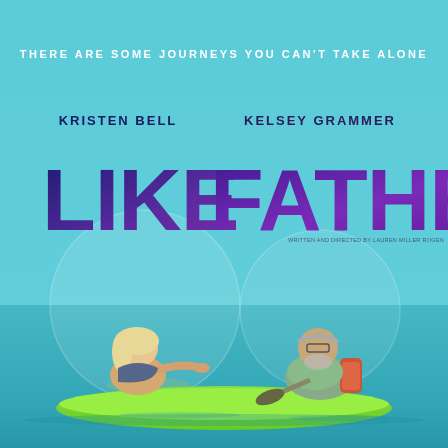[Figure (illustration): Movie poster for 'Like Father' (Netflix film). Light blue/teal sky background with two large translucent bubble circles. Top text tagline in white uppercase letters. Actor names 'KRISTEN BELL' and 'KELSEY GRAMMER' in dark navy uppercase. Large stylized title 'LIKE FATHER' in dark purple/indigo gradient text. Bottom half shows a photographic scene of a blonde woman (left) and an older bespectacled man (right) sitting in a green kayak on turquoise ocean water.]